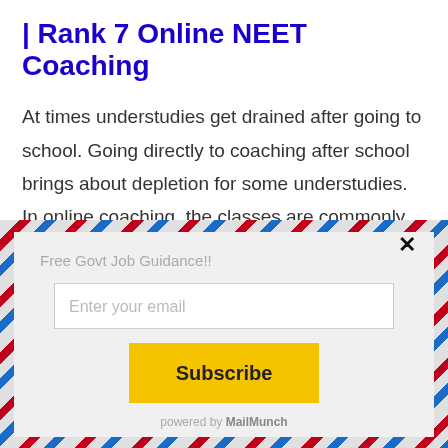| Rank 7 Online NEET Coaching
At times understudies get drained after going to school. Going directly to coaching after school brings about depletion for some understudies. In online coaching, the classes are commonly directed at night time, gives sufficient opportunity
[Figure (infographic): A modal popup overlay with airmail-style red and blue diagonal stripe border on a light grey background. Contains label 'Free Govt Job Guidance!!', an email input field with placeholder 'Enter your email', a yellow 'Subscribe' button, and 'powered by MailMunch' text at the bottom. A close (X) button appears in the top-right corner.]